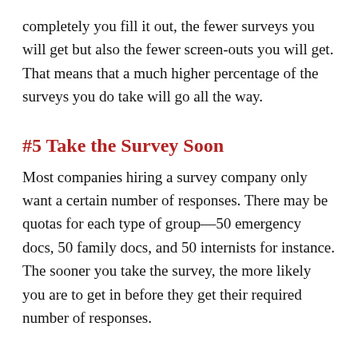completely you fill it out, the fewer surveys you will get but also the fewer screen-outs you will get. That means that a much higher percentage of the surveys you do take will go all the way.
#5 Take the Survey Soon
Most companies hiring a survey company only want a certain number of responses. There may be quotas for each type of group—50 emergency docs, 50 family docs, and 50 internists for instance. The sooner you take the survey, the more likely you are to get in before they get their required number of responses.